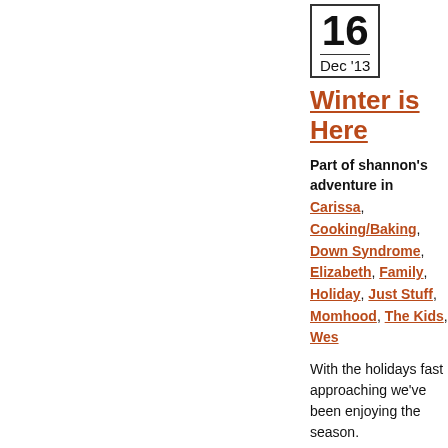16 Dec '13
Winter is Here
Part of shannon's adventure in Carissa, Cooking/Baking, Down Syndrome, Elizabeth, Family, Holiday, Just Stuff, Momhood, The Kids, Wes
With the holidays fast approaching we've been enjoying the season.
I tried taking photos of the kids for a potential Christmas card but they all basically turned out like this. No Christmas cards for